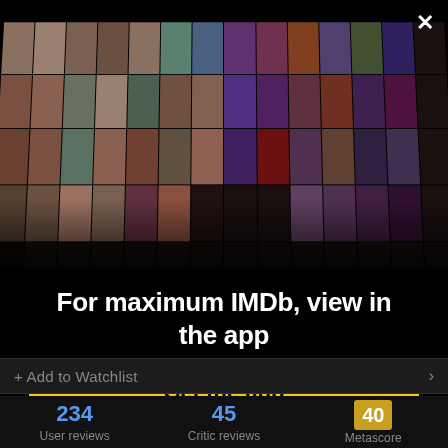[Figure (photo): IMDb app promotional collage showing a mosaic of celebrity headshots and movie posters arranged in a perspective grid on a black background]
For maximum IMDb, view in the app
Get the app
Add to Watchlist
234 User reviews
45 Critic reviews
40 Metascore